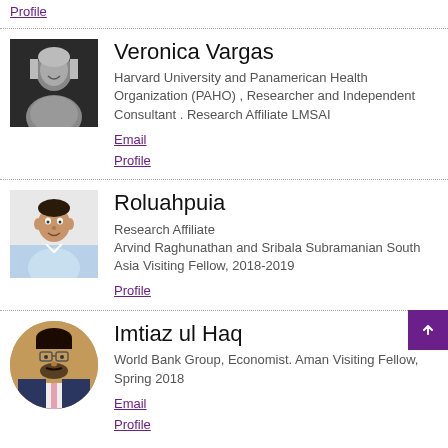Profile
[Figure (photo): Black and white photo of Veronica Vargas, a woman with gray hair, smiling]
Veronica Vargas
Harvard University and Panamerican Health Organization (PAHO) , Researcher and Independent Consultant . Research Affiliate LMSAI
Email
Profile
[Figure (photo): Photo of Roluahpuia, a man in a light blue shirt]
Roluahpuia
Research Affiliate
Arvind Raghunathan and Sribala Subramanian South Asia Visiting Fellow, 2018-2019
Profile
[Figure (photo): Circular photo of Imtiaz ul Haq, a man with beard wearing a suit and tie]
Imtiaz ul Haq
World Bank Group, Economist. Aman Visiting Fellow, Spring 2018
Email
Profile